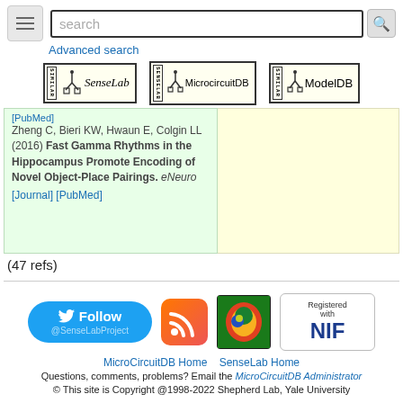search [search box] [Advanced search]
[Figure (logo): SenseLab, MicrocircuitDB, ModelDB logos in a row]
[PubMed] Zheng C, Bieri KW, Hwaun E, Colgin LL (2016) Fast Gamma Rhythms in the Hippocampus Promote Encoding of Novel Object-Place Pairings. eNeuro [Journal] [PubMed]
(47 refs)
[Figure (infographic): Social media and affiliate icons: Twitter Follow @SenseLabProject button, RSS feed icon, brain/neuroscience icon, Registered with NIF badge]
MicroCircuitDB Home  SenseLab Home
Questions, comments, problems? Email the MicroCircuitDB Administrator
© This site is Copyright @1998-2022 Shepherd Lab, Yale University